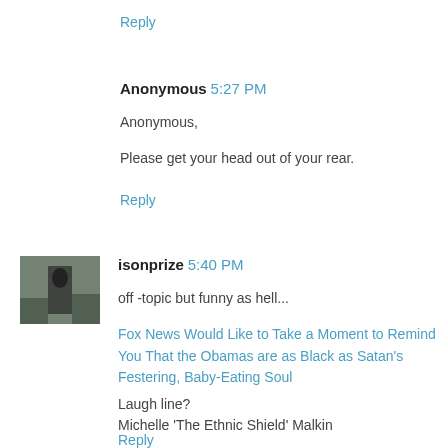Reply
Anonymous 5:27 PM
Anonymous,
Please get your head out of your rear.
Reply
[Figure (photo): Avatar photo of isonprize showing a person walking near a vehicle]
isonprize 5:40 PM
off -topic but funny as hell...
Fox News Would Like to Take a Moment to Remind You That the Obamas are as Black as Satan's Festering, Baby-Eating Soul
Laugh line?
Michelle 'The Ethnic Shield' Malkin
Reply